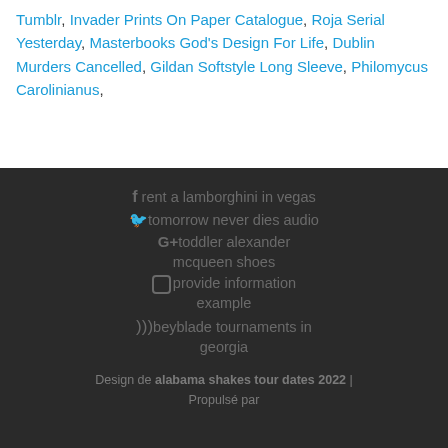Tumblr, Invader Prints On Paper Catalogue, Roja Serial Yesterday, Masterbooks God's Design For Life, Dublin Murders Cancelled, Gildan Softstyle Long Sleeve, Philomycus Carolinianus,
rent a lamborghini in vegas
tomorrow never dies audio
toddler alexander mcqueen shoes
provide information example
beyblade tournaments in georgia
Design de alabama shakes tour dates 2022 | Propulsé par